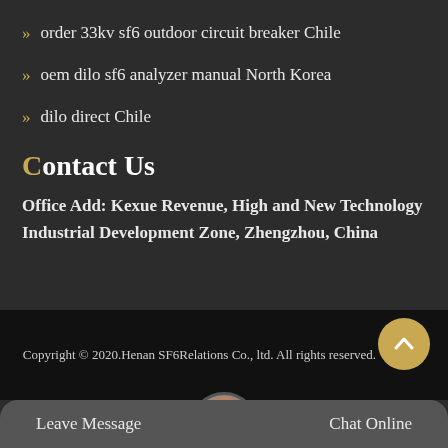order 33kv sf6 outdoor circuit breaker Chile
oem dilo sf6 analyzer manual North Korea
dilo direct Chile
Contact Us
Office Add: Kexue Revenue, High and New Technology Industrial Development Zone, Zhengzhou, China
Copyright © 2020.Henan SF6Relations Co., ltd. All rights reserved. Sitemap
Leave Message
Chat Online